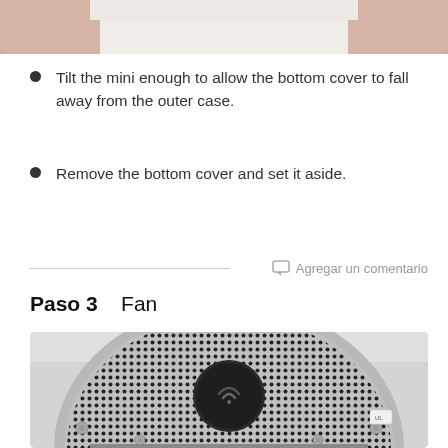[Figure (photo): Top portion of hands holding a Mac mini device, white body visible in center]
Tilt the mini enough to allow the bottom cover to fall away from the outer case.
Remove the bottom cover and set it aside.
Agregar un comentario
Paso 3    Fan
[Figure (photo): Close-up photo of Mac mini fan/bottom showing circular ventilation grille with dot pattern, central dark circular WiFi antenna, and screws at edges]